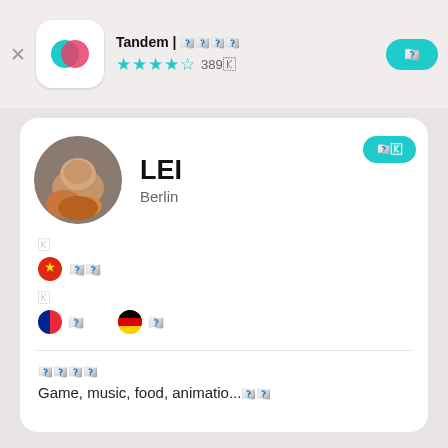Tandem | 언어교환 파트너 찾기 ★★★★☆ 389개
LEI
Berlin
나
🇨🇳 중국어(간체)
학
🇫🇷 프랑스어  🇩🇪 독일어
관심사소개
Game, music, food, animatio...더보기